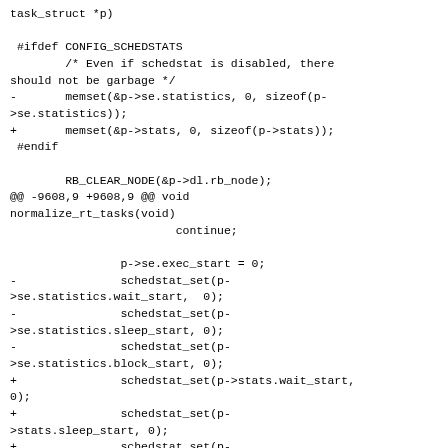task_struct *p)

 #ifdef CONFIG_SCHEDSTATS
        /* Even if schedstat is disabled, there should not be garbage */
-       memset(&p->se.statistics, 0, sizeof(p->se.statistics));
+       memset(&p->stats, 0, sizeof(p->stats));
 #endif

        RB_CLEAR_NODE(&p->dl.rb_node);
@@ -9608,9 +9608,9 @@ void normalize_rt_tasks(void)
                        continue;

                p->se.exec_start = 0;
-               schedstat_set(p->se.statistics.wait_start,  0);
-               schedstat_set(p->se.statistics.sleep_start, 0);
-               schedstat_set(p->se.statistics.block_start, 0);
+               schedstat_set(p->stats.wait_start, 0);
+               schedstat_set(p->stats.sleep_start, 0);
+               schedstat_set(p->stats.block_start, 0);

                if (!dl_task(p) && !rt_task(p)) {